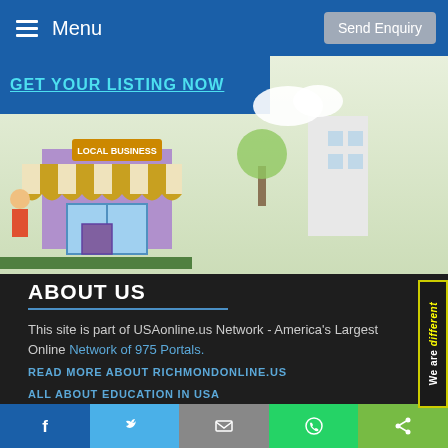Menu   Send Enquiry
[Figure (illustration): Hero area with blue banner text and a local business store illustration (cartoon shop with awning labeled LOCAL BUSINESS)]
ABOUT US
This site is part of USAonline.us Network - America's Largest Online Network of 975 Portals.
READ MORE ABOUT RICHMONDONLINE.US
ALL ABOUT EDUCATION IN USA
USEFUL LINKS
Facebook  Twitter  Email  WhatsApp  Share